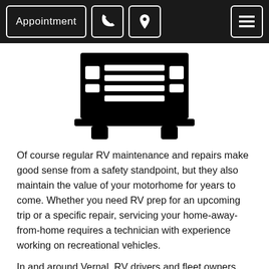Appointment [phone icon] [location icon] [menu icon]
[Figure (illustration): Black RV / motorhome icon viewed from the front, showing headlights, grille, bumper, and wheels]
Of course regular RV maintenance and repairs make good sense from a safety standpoint, but they also maintain the value of your motorhome for years to come. Whether you need RV prep for an upcoming trip or a specific repair, servicing your home-away-from-home requires a technician with experience working on recreational vehicles.
In and around Vernal, RV drivers and fleet owners depend on Advanced Towing & Automotive to provide the highest level of quality and service in the least amount of truck